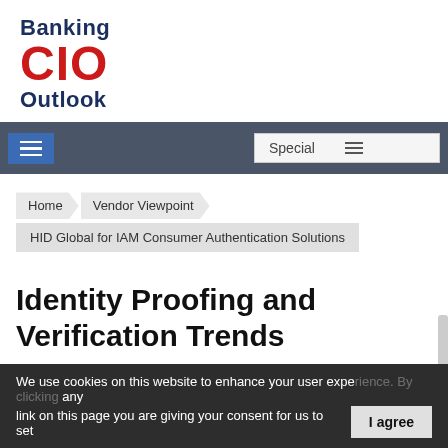[Figure (logo): Banking CIO Outlook logo with 'Banking' and 'Outlook' in dark navy bold, 'CIO' in large red bold text]
Navigation bar with hamburger menu and Special dropdown
Home > Vendor Viewpoint > HID Global for IAM Consumer Authentication Solutions
Identity Proofing and Verification Trends
We use cookies on this website to enhance your user experience. By clicking any link on this page you are giving your consent for us to set